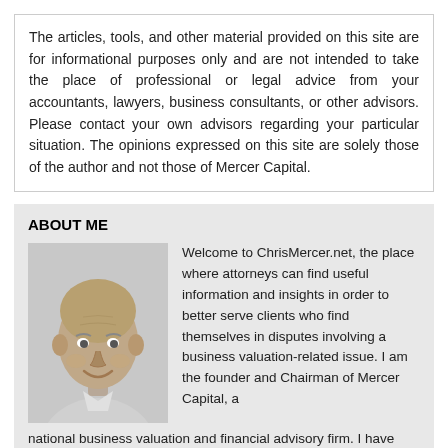The articles, tools, and other material provided on this site are for informational purposes only and are not intended to take the place of professional or legal advice from your accountants, lawyers, business consultants, or other advisors. Please contact your own advisors regarding your particular situation. The opinions expressed on this site are solely those of the author and not those of Mercer Capital.
ABOUT ME
[Figure (photo): Black and white portrait photo of an older bald man smiling, wearing a collared shirt]
Welcome to ChrisMercer.net, the place where attorneys can find useful information and insights in order to better serve clients who find themselves in disputes involving a business valuation-related issue. I am the founder and Chairman of Mercer Capital, a national business valuation and financial advisory firm. I have been a business valuation professional for over 35 years providing valuation and corporate advisory services for litigation, transaction, and tax-related purposes. My goal for this blog is to share with my readers